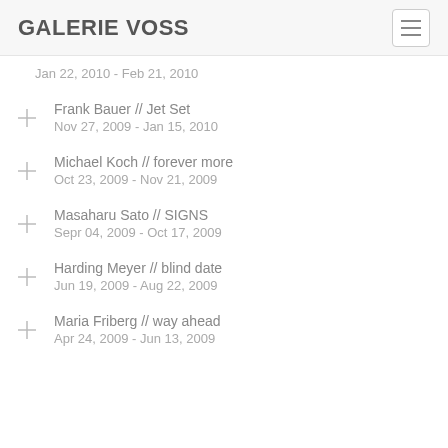GALERIE VOSS
Jan 22, 2010 - Feb 21, 2010
Frank Bauer // Jet Set
Nov 27, 2009 - Jan 15, 2010
Michael Koch // forever more
Oct 23, 2009 - Nov 21, 2009
Masaharu Sato // SIGNS
Sepr 04, 2009 - Oct 17, 2009
Harding Meyer // blind date
Jun 19, 2009 - Aug 22, 2009
Maria Friberg // way ahead
Apr 24, 2009 - Jun 13, 2009